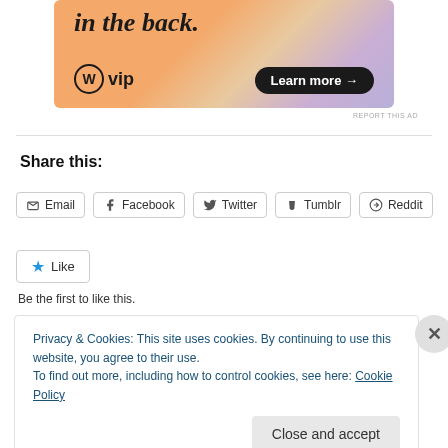[Figure (illustration): WordPress VIP advertisement banner with gradient orange/pink/purple background, bold italic text 'in the back.', WordPress W logo with 'vip' text, and a dark 'Learn more →' button.]
REPORT THIS AD
Share this:
Email  Facebook  Twitter  Tumblr  Reddit
Like
Be the first to like this.
Privacy & Cookies: This site uses cookies. By continuing to use this website, you agree to their use.
To find out more, including how to control cookies, see here: Cookie Policy
Close and accept